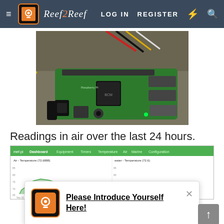Reef2Reef  LOG IN  REGISTER
[Figure (photo): Raspberry Pi circuit board on a gray concrete surface with red, black, and yellow wires connected]
Readings in air over the last 24 hours.
[Figure (screenshot): Dashboard screenshot showing mef-pi interface with navigation bar (Dashboard, Equipment, Timers, Temperature, Air, Marine, Configuration) and two line/area charts: Air - Temperature (72.6888) on left showing green area chart around 70-75 degrees, Water - Temperature (72.6) on right, both over Sep 16-17 timeframe]
Please Introduce Yourself Here!